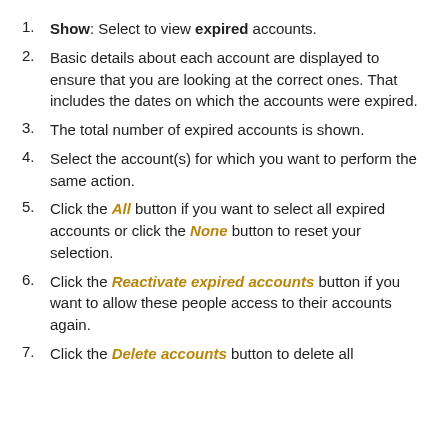Show: Select to view expired accounts.
Basic details about each account are displayed to ensure that you are looking at the correct ones. That includes the dates on which the accounts were expired.
The total number of expired accounts is shown.
Select the account(s) for which you want to perform the same action.
Click the All button if you want to select all expired accounts or click the None button to reset your selection.
Click the Reactivate expired accounts button if you want to allow these people access to their accounts again.
Click the Delete accounts button to delete all